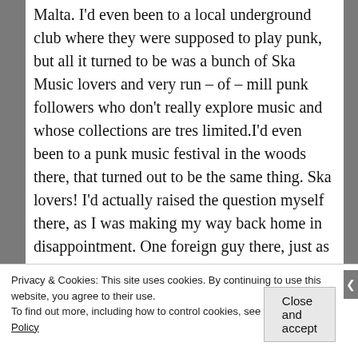Malta. I'd even been to a local underground club where they were supposed to play punk, but all it turned to be was a bunch of Ska Music lovers and very run – of – mill punk followers who don't really explore music and whose collections are tres limited.I'd even been to a punk music festival in the woods there, that turned out to be the same thing. Ska lovers! I'd actually raised the question myself there, as I was making my way back home in disappointment. One foreign guy there, just as bored as I was, explained that Ska was popular with the younger crowds as Ska
Privacy & Cookies: This site uses cookies. By continuing to use this website, you agree to their use.
To find out more, including how to control cookies, see here: Cookie Policy
Close and accept